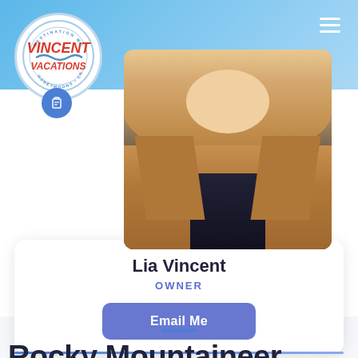[Figure (logo): Vincent Vacations circular logo with red text and blue border, tagline: Destination Weddings, Honeymoons, Cruises]
[Figure (photo): Profile photo of Lia Vincent, a blonde woman wearing a camel/tan blazer over a black top]
Lia Vincent
OWNER
Email Me
Rocky Mountaineer Train